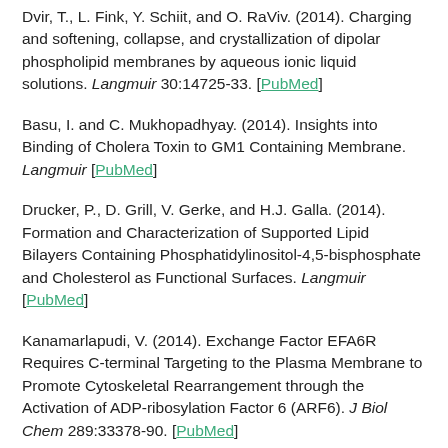Dvir, T., L. Fink, Y. Schiit, and O. RaViv. (2014). Charging and softening, collapse, and crystallization of dipolar phospholipid membranes by aqueous ionic liquid solutions. Langmuir 30:14725-33. [PubMed]
Basu, I. and C. Mukhopadhyay. (2014). Insights into Binding of Cholera Toxin to GM1 Containing Membrane. Langmuir [PubMed]
Drucker, P., D. Grill, V. Gerke, and H.J. Galla. (2014). Formation and Characterization of Supported Lipid Bilayers Containing Phosphatidylinositol-4,5-bisphosphate and Cholesterol as Functional Surfaces. Langmuir [PubMed]
Kanamarlapudi, V. (2014). Exchange Factor EFA6R Requires C-terminal Targeting to the Plasma Membrane to Promote Cytoskeletal Rearrangement through the Activation of ADP-ribosylation Factor 6 (ARF6). J Biol Chem 289:33378-90. [PubMed]